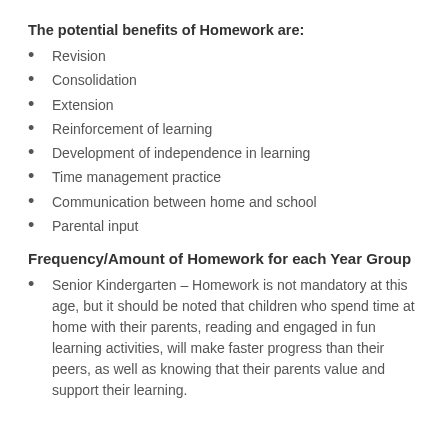The potential benefits of Homework are:
Revision
Consolidation
Extension
Reinforcement of learning
Development of independence in learning
Time management practice
Communication between home and school
Parental input
Frequency/Amount of Homework for each Year Group
Senior Kindergarten – Homework is not mandatory at this age, but it should be noted that children who spend time at home with their parents, reading and engaged in fun learning activities, will make faster progress than their peers, as well as knowing that their parents value and support their learning.